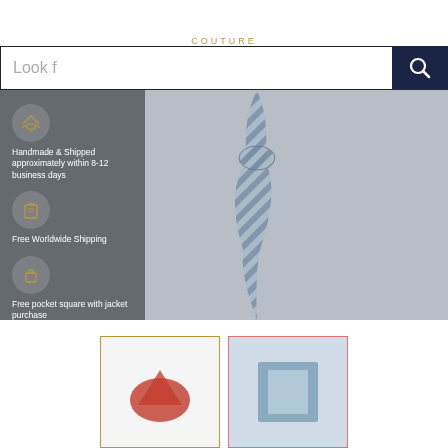COUTURE
[Figure (screenshot): Search bar with placeholder text 'Look f' and dark navy search button with magnifying glass icon]
[Figure (infographic): Promotional banner with dark gray left panel showing three feature items: 1) airplane icon - 'Handmade & Shipped approximately within 8-12 business days', 2) jacket icon - 'Free Worldwide Shipping', 3) pocket square icon - 'Free pocket square with jacket purchase'. Right side shows a blue and white striped tie on gray background.]
[Figure (photo): Product thumbnail 1: item with red triangular shape on white background, gold border]
[Figure (photo): Product thumbnail 2: blue fabric/tie with red border on blue background]